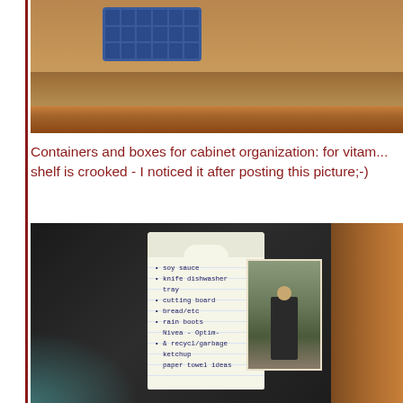[Figure (photo): Photo of a wooden shelf with a blue basket/organizer containing items, viewed from below. Warm brown wood tones.]
Containers and boxes for cabinet organization: for vitam... shelf is crooked - I noticed it after posting this picture;-)
[Figure (photo): Photo of a dark refrigerator with a notepad/list attached showing handwritten items (soy sauce, knife/dishwasher, cutting board, bread/etc, rain boots, Nivea/Optim, recycling/garbage, paper towel ideas) and a vintage black-and-white photo of a child on the right side.]